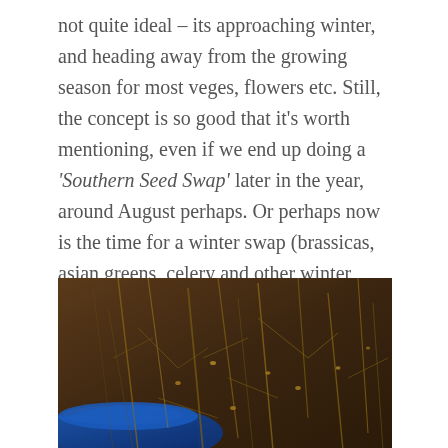not quite ideal – its approaching winter, and heading away from the growing season for most veges, flowers etc. Still, the concept is so good that it's worth mentioning, even if we end up doing a 'Southern Seed Swap' later in the year, around August perhaps. Or perhaps now is the time for a winter swap (brassicas, asian greens, celery and other winter crops).
[Figure (photo): Close-up photograph of dried plant stems and seeds in a blue container, showing brown tangled stalks and small seeds against a dark background.]